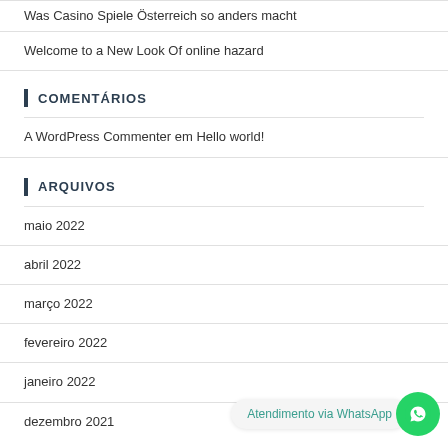Was Casino Spiele Österreich so anders macht
Welcome to a New Look Of online hazard
COMENTÁRIOS
A WordPress Commenter em Hello world!
ARQUIVOS
maio 2022
abril 2022
março 2022
fevereiro 2022
janeiro 2022
dezembro 2021
[Figure (infographic): WhatsApp contact widget with green circle icon and 'Atendimento via WhatsApp' bubble]